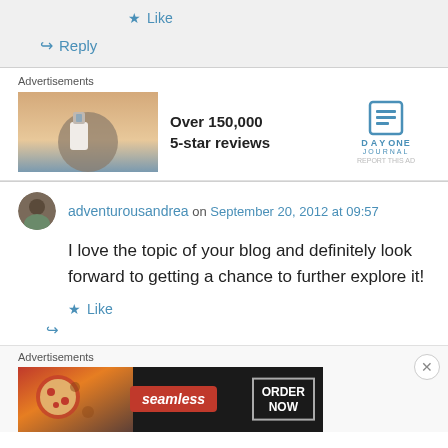★ Like
↪ Reply
Advertisements
[Figure (photo): Advertisement banner for Day One Journal app showing a person taking a photo outdoors with text 'Over 150,000 5-star reviews' and Day One Journal logo]
adventurousandrea on September 20, 2012 at 09:57
I love the topic of your blog and definitely look forward to getting a chance to further explore it!
★ Like
Advertisements
[Figure (photo): Seamless food delivery advertisement showing pizza with 'seamless' logo and 'ORDER NOW' button]